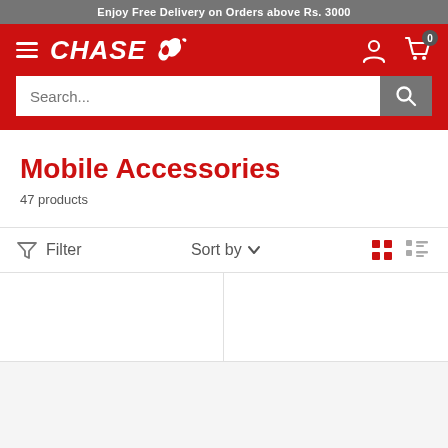Enjoy Free Delivery on Orders above Rs. 3000
[Figure (logo): CHASE brand logo with running horse icon in white on red background, with hamburger menu icon on left and user account and cart icons on right]
Search...
Mobile Accessories
47 products
Filter   Sort by   (grid and list view icons)